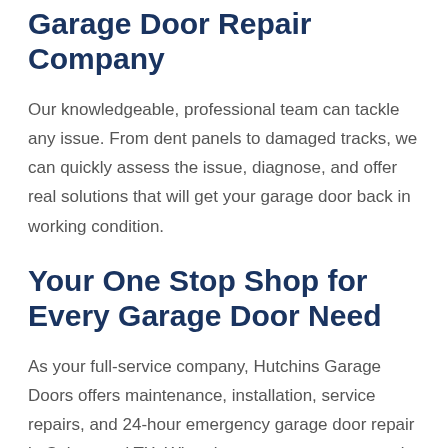Garage Door Repair Company
Our knowledgeable, professional team can tackle any issue. From dent panels to damaged tracks, we can quickly assess the issue, diagnose, and offer real solutions that will get your garage door back in working condition.
Your One Stop Shop for Every Garage Door Need
As your full-service company, Hutchins Garage Doors offers maintenance, installation, service repairs, and 24-hour emergency garage door repair in Spicewood TX. When it comes to your property's garage door needs, including custom design and install, connect with the